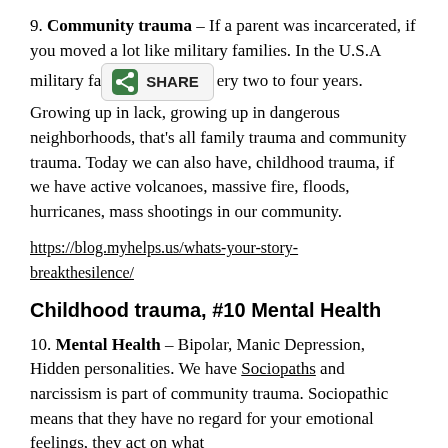9. Community trauma – If a parent was incarcerated, if you moved a lot like military families. In the U.S.A military families move every two to four years. Growing up in lack, growing up in dangerous neighborhoods, that's all family trauma and community trauma. Today we can also have, childhood trauma, if we have active volcanoes, massive fire, floods, hurricanes, mass shootings in our community.
https://blog.myhelps.us/whats-your-story-breakthesilence/
Childhood trauma, #10 Mental Health
10. Mental Health – Bipolar, Manic Depression, Hidden personalities. We have Sociopaths and narcissism is part of community trauma. Sociopathic means that they have no regard for your emotional feelings, they act on what